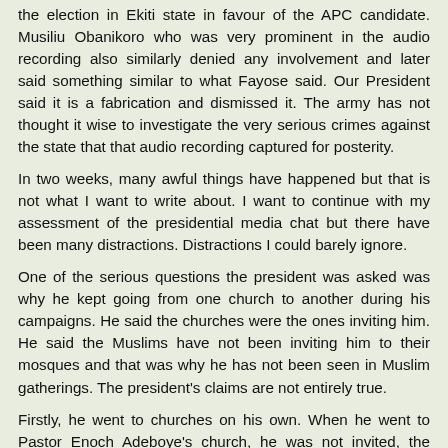the election in Ekiti state in favour of the APC candidate. Musiliu Obanikoro who was very prominent in the audio recording also similarly denied any involvement and later said something similar to what Fayose said. Our President said it is a fabrication and dismissed it. The army has not thought it wise to investigate the very serious crimes against the state that that audio recording captured for posterity.
In two weeks, many awful things have happened but that is not what I want to write about. I want to continue with my assessment of the presidential media chat but there have been many distractions. Distractions I could barely ignore.
One of the serious questions the president was asked was why he kept going from one church to another during his campaigns. He said the churches were the ones inviting him. He said the Muslims have not been inviting him to their mosques and that was why he has not been seen in Muslim gatherings. The president's claims are not entirely true.
Firstly, he went to churches on his own. When he went to Pastor Enoch Adeboye's church, he was not invited, the same for Bishop Oyedepo's church. Oyedepo said in the video of the president's visit to his church that he had no idea that the President was coming. In short, it was impromptu. He also travelled with a retinue of senior Christian leaders, including Pastor Ayo Oritsejafor, the CAN President, to Israel for them to pray for his victory at the polls and to pray for Nigeria. There were also serving ministers and a few governors on that jamboree at the nation's expense.
Secondly, the Muslims have often invited the president but he always sends a representative. He did not visit Muslim groups until he was going